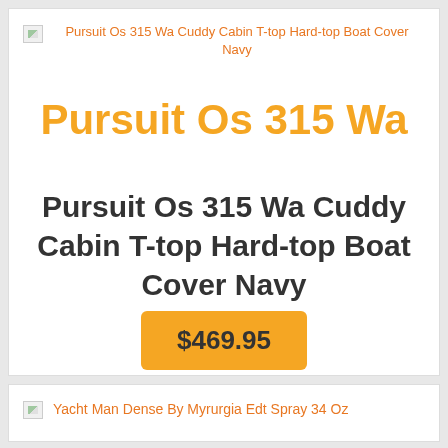Pursuit Os 315 Wa Cuddy Cabin T-top Hard-top Boat Cover Navy
Pursuit Os 315 Wa
Pursuit Os 315 Wa Cuddy Cabin T-top Hard-top Boat Cover Navy
$469.95
Yacht Man Dense By Myrurgia Edt Spray 34 Oz